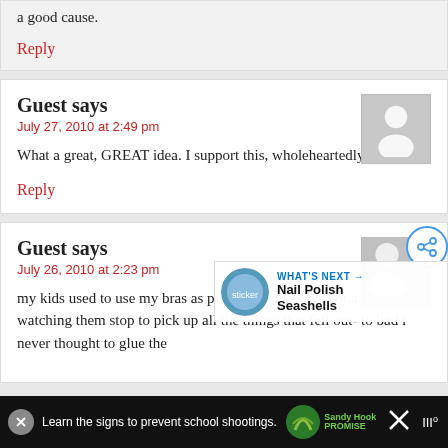a good cause.
Reply
Guest says
July 27, 2010 at 2:49 pm
What a great, GREAT idea. I support this, wholeheartedly!
Reply
Guest says
July 26, 2010 at 2:23 pm
my kids used to use my bras as purses and i always got a kick out of watching them stop to pick up all the things that fell out- to bad i never thought to glue the
WHAT'S NEXT → Nail Polish Seashells
Learn the signs to prevent school shootings.